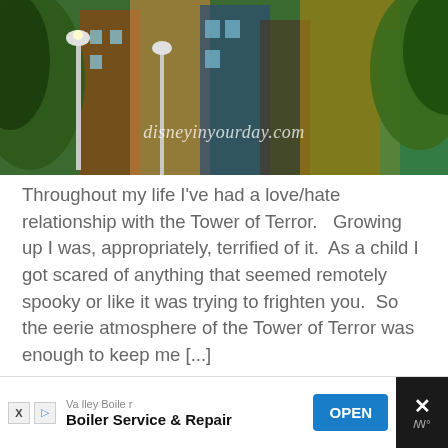[Figure (photo): Banner photo of a Disney area street scene with trees, lamp posts, and colorful buildings. Watermark reads 'disneyinyourday.com']
Throughout my life I've had a love/hate relationship with the Tower of Terror.   Growing up I was, appropriately, terrified of it.  As a child I got scared of anything that seemed remotely spooky or like it was trying to frighten you.  So the eerie atmosphere of the Tower of Terror was enough to keep me [...]
[Figure (screenshot): Advertisement bar at the bottom: Valley Boiler - Boiler Service & Repair with OPEN button and close X button]